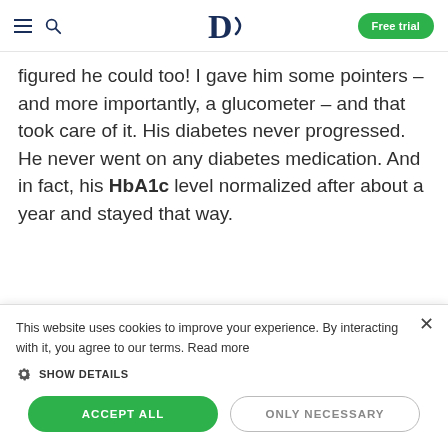D — Free trial
figured he could too! I gave him some pointers – and more importantly, a glucometer – and that took care of it. His diabetes never progressed. He never went on any diabetes medication. And in fact, his HbA1c level normalized after about a year and stayed that way.
What has been the hardest about
This website uses cookies to improve your experience. By interacting with it, you agree to our terms. Read more
SHOW DETAILS
ACCEPT ALL   ONLY NECESSARY